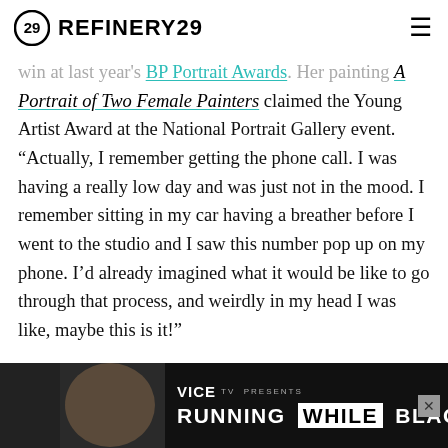REFINERY29
win at last year's BP Portrait Awards. Her painting A Portrait of Two Female Painters claimed the Young Artist Award at the National Portrait Gallery event. "Actually, I remember getting the phone call. I was having a really low day and was just not in the mood. I remember sitting in my car having a breather before I went to the studio and I saw this number pop up on my phone. I'd already imagined what it would be like to go through that process, and weirdly in my head I was like, maybe this is it!"
A “dream come true moment,” as Hobson tells Refinery29, the recognition garnered from the show proved advantageous: she was subsequently tapped to exhibit at this ye... up show ...
[Figure (screenshot): VICE TV PRESENTS RUNNING WHILE BLACK advertisement banner at bottom of page]